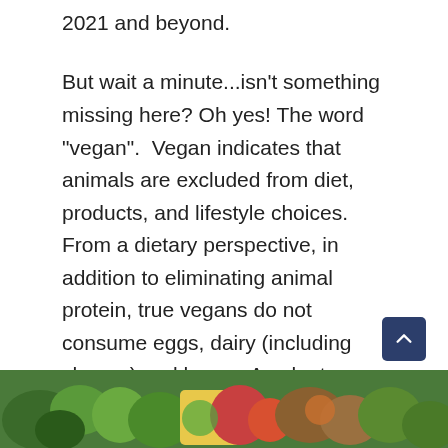2021 and beyond.
But wait a minute...isn’t something missing here? Oh yes! The word “vegan”. Vegan indicates that animals are excluded from diet, products, and lifestyle choices. From a dietary perspective, in addition to eliminating animal protein, true vegans do not consume eggs, dairy (including cheese) and honey. As plant-based diets seem to be on track to become more prevalent, there is an industry-wide shift in terminology from “vegan” to “plant-based”. From the supermarkets to menus of popular chain restaurants as well as local faves, the “plant-based” label is quickly replacing “vegan”.
[Figure (photo): A strip of colorful food photograph at the bottom of the page, showing green vegetables and colorful produce.]